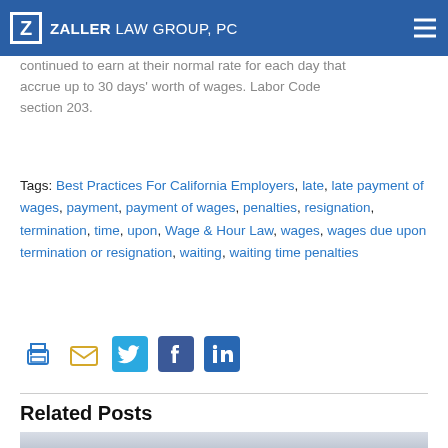Zaller Law Group, PC
continued to earn at their normal rate for each day that accrue up to 30 days' worth of wages. Labor Code section 203.
Tags: Best Practices For California Employers, late, late payment of wages, payment, payment of wages, penalties, resignation, termination, time, upon, Wage & Hour Law, wages, wages due upon termination or resignation, waiting, waiting time penalties
[Figure (infographic): Social sharing icons: print, email, Twitter, Facebook, LinkedIn]
Related Posts
[Figure (photo): Partial image strip at the bottom of the page for related posts thumbnail]